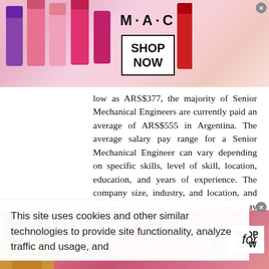[Figure (screenshot): MAC cosmetics advertisement banner showing colorful lipsticks on the left, MAC logo in center, and a 'SHOP NOW' box on the right with a close button.]
low as ARS$377, the majority of Senior Mechanical Engineers are currently paid an average of ARS$555 in Argentina. The average salary pay range for a Senior Mechanical Engineer can vary depending on specific skills, level of skill, location, education, and years of experience. The company size, industry, and location, and numbers of available job candidates may also affect salary offers. Salaries for a Senior Mechanical Engineer in Argentina can differ based on any or all of these varying factors.
This site uses cookies and other similar technologies to provide site functionality, analyze traffic and usage, and
for
[Figure (screenshot): Victoria's Secret advertisement banner with model on the left, VS logo, 'SHOP THE COLLECTION' text, and a 'SHOP NOW' button on the right with a close button.]